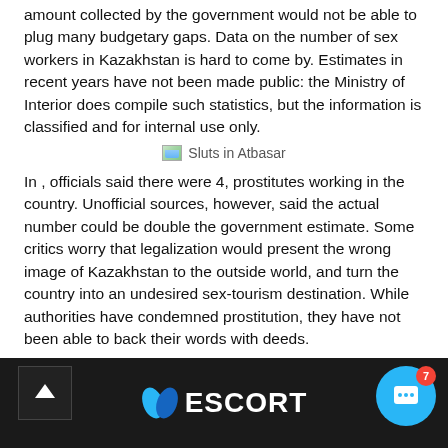amount collected by the government would not be able to plug many budgetary gaps. Data on the number of sex workers in Kazakhstan is hard to come by. Estimates in recent years have not been made public: the Ministry of Interior does compile such statistics, but the information is classified and for internal use only.
[Figure (illustration): Broken image placeholder with text 'Sluts in Atbasar']
In , officials said there were 4, prostitutes working in the country. Unofficial sources, however, said the actual number could be double the government estimate. Some critics worry that legalization would present the wrong image of Kazakhstan to the outside world, and turn the country into an undesired sex-tourism destination. While authorities have condemned prostitution, they have not been able to back their words with deeds.
ESCORT